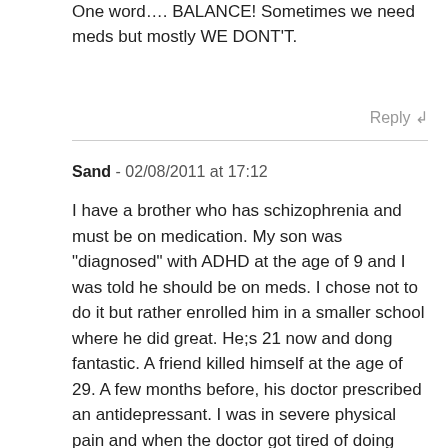One word…. BALANCE! Sometimes we need meds but mostly WE DONT'T.
Reply ↲
Sand - 02/08/2011 at 17:12
I have a brother who has schizophrenia and must be on medication. My son was "diagnosed" with ADHD at the age of 9 and I was told he should be on meds. I chose not to do it but rather enrolled him in a smaller school where he did great. He;s 21 now and dong fantastic. A friend killed himself at the age of 29. A few months before, his doctor prescribed an antidepressant. I was in severe physical pain and when the doctor got tired of doing blood work that came back normal I was given symbalta. He said I ha has fibromyalgiad. I didn't take the medication and went to another Dr. One week after I was in the hospital and ha cervical spine surgery. I had severe spinal stenosis and my medulla was being pressed.